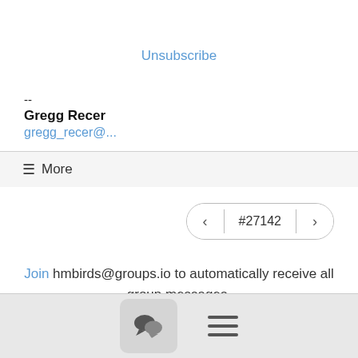Unsubscribe
--
Gregg Recer
gregg_recer@...
☰ More
◀ #27142 ▶
Join hmbirds@groups.io to automatically receive all group messages.